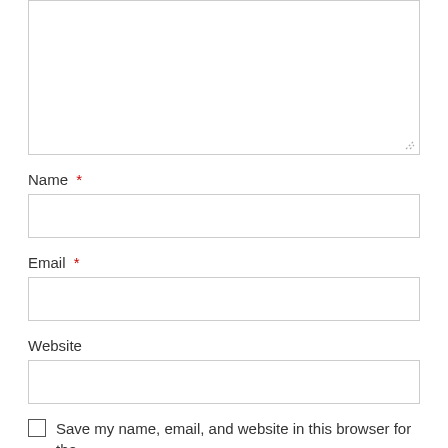[Figure (screenshot): Top portion of a comment/reply form showing a textarea input box (empty) with resize handle at bottom right.]
Name *
[Figure (screenshot): Empty text input field for Name]
Email *
[Figure (screenshot): Empty text input field for Email]
Website
[Figure (screenshot): Empty text input field for Website]
Save my name, email, and website in this browser for the